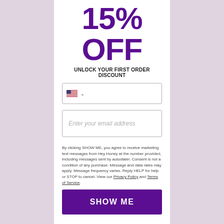15% OFF
UNLOCK YOUR FIRST ORDER DISCOUNT
[Figure (screenshot): Phone number input field with US flag and dropdown chevron]
[Figure (screenshot): Email address input field with placeholder text 'Enter your email address']
By clicking SHOW ME, you agree to receive marketing text messages from Hey Honey at the number provided, including messages sent by autodialer. Consent is not a condition of any purchase. Message and data rates may apply. Message frequency varies. Reply HELP for help or STOP to cancel. View our Privacy Policy and Terms of Service.
SHOW ME
I don't need it